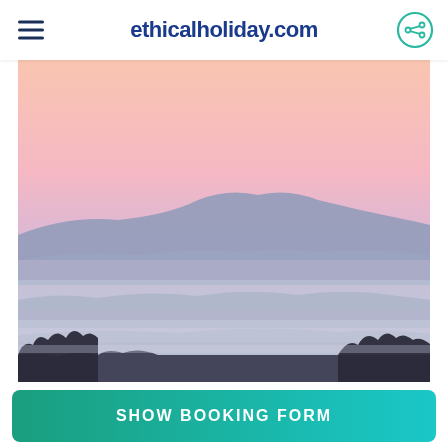ethicalholiday.com
[Figure (photo): Panoramic landscape photo of layered mountains and misty valleys at dawn/dusk with a pink and lavender sky gradient fading to blue-purple mountains and dark tree silhouettes in the foreground]
SHOW BOOKING FORM